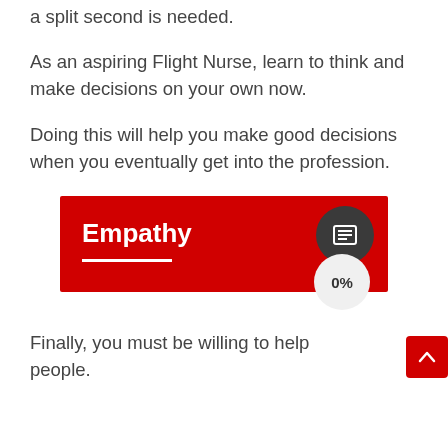a split second is needed.
As an aspiring Flight Nurse, learn to think and make decisions on your own now.
Doing this will help you make good decisions when you eventually get into the profession.
Empathy
Finally, you must be willing to help people.